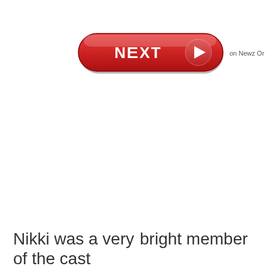[Figure (other): A red pill-shaped 'NEXT' button with white bold text 'NEXT' and a white arrow circle on the right side, with the text 'on Newz Online' to the right of the button]
Nikki was a very bright member of the cast